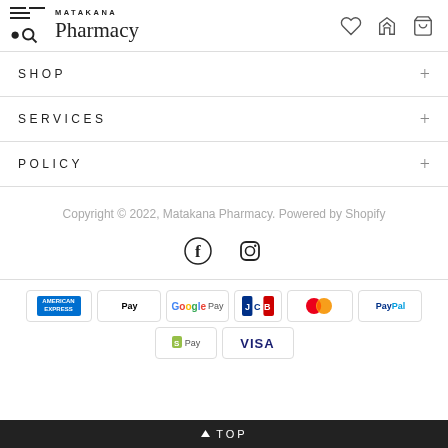Matakana Pharmacy
SHOP
SERVICES
POLICY
Copyright © 2022, Matakana Pharmacy. Powered by Shopify
[Figure (other): Social media icons: Facebook and Instagram]
[Figure (other): Payment method logos: American Express, Apple Pay, Google Pay, JCB, Mastercard, PayPal, Shopify Pay, Visa]
↑ TOP